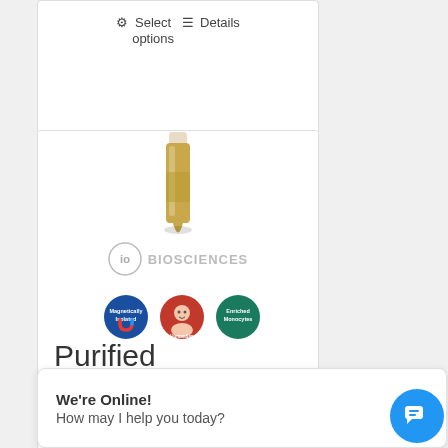⚙ Select options  ≡ Details
[Figure (photo): Product card showing a vial of purified human monocytes with IO Biosciences branding, three circular badges: Magnetically Isolated, HumanSap, Enriched Monocytes]
Purified Human Monocytes
$720.00
We're Online!
How may I help you today?